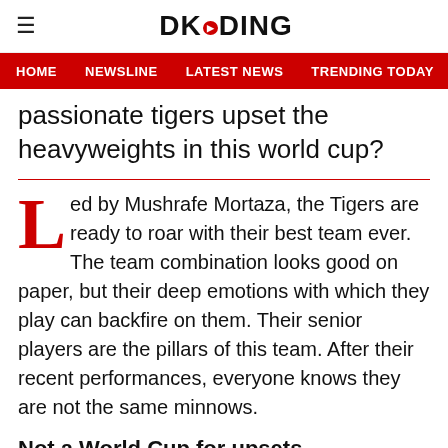DKODING
HOME   NEWSLINE   LATEST NEWS   TRENDING TODAY   ENT
passionate tigers upset the heavyweights in this world cup?
Led by Mushrafe Mortaza, the Tigers are ready to roar with their best team ever. The team combination looks good on paper, but their deep emotions with which they play can backfire on them. Their senior players are the pillars of this team. After their recent performances, everyone knows they are not the same minnows.
Not a World Cup for upsets